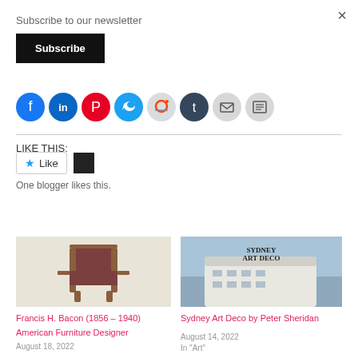×
Subscribe to our newsletter
Subscribe
[Figure (infographic): A row of social media sharing icons: Facebook (blue), LinkedIn (blue), Pinterest (red), Twitter (blue), Reddit (light blue/grey), Tumblr (dark blue), Email (grey), Print (grey)]
LIKE THIS:
Like
One blogger likes this.
[Figure (photo): A wooden armchair with red/burgundy upholstered seat and back, against a light background]
Francis H. Bacon (1856 – 1940) American Furniture Designer
August 18, 2022
[Figure (photo): Sydney Art Deco book cover showing a white art deco building against a blue sky, with text 'SYDNEY ART DECO']
Sydney Art Deco by Peter Sheridan
August 14, 2022
In "Art"